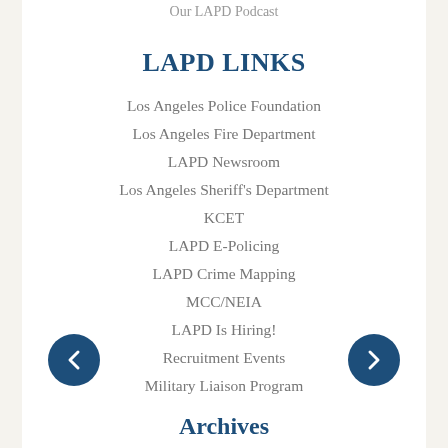Our LAPD Podcast
LAPD LINKS
Los Angeles Police Foundation
Los Angeles Fire Department
LAPD Newsroom
Los Angeles Sheriff's Department
KCET
LAPD E-Policing
LAPD Crime Mapping
MCC/NEIA
LAPD Is Hiring!
Recruitment Events
Military Liaison Program
Archives